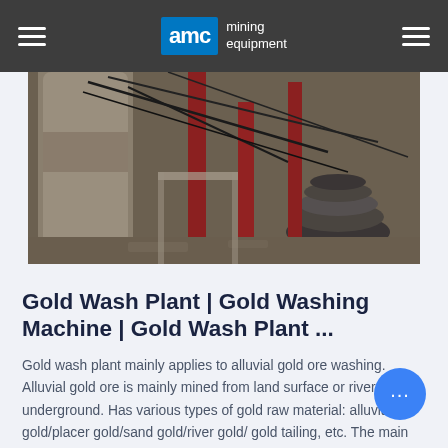AMC mining equipment
[Figure (photo): Industrial mining equipment — large metal tanks, pipes, cables, and machinery in a facility]
Gold Wash Plant | Gold Washing Machine | Gold Wash Plant ...
Gold wash plant mainly applies to alluvial gold ore washing. Alluvial gold ore is mainly mined from land surface or river or underground. Has various types of gold raw material: alluvial gold/placer gold/sand gold/river gold/ gold tailing, etc. The main process includes feeding, washing, sieving, rough separation, final concentration, and refining.